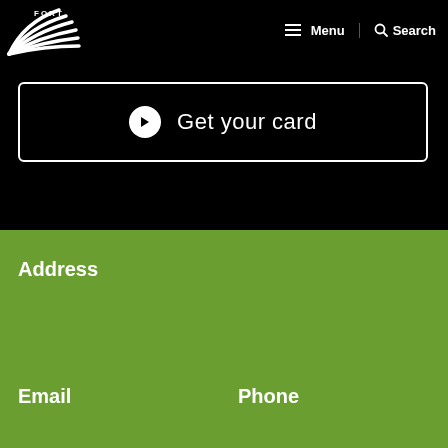[Figure (logo): Partial circular logo with 'FORT' text visible, white on black background, top left corner]
Menu  Search
Get your card
Address
Email
Phone